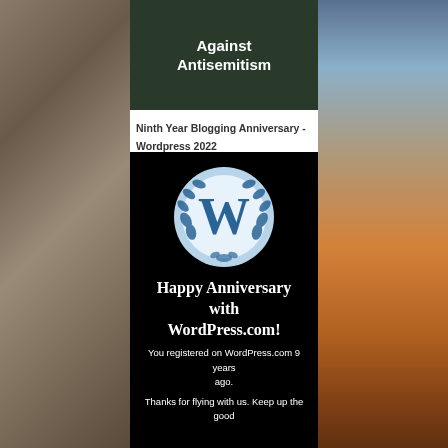[Figure (photo): Dark banner image with white bold text reading 'Against Antisemitism' (partial, top cropped)]
Ninth Year Blogging Anniversary - Wordpress 2022
[Figure (illustration): WordPress anniversary card on black background with WordPress 'W' logo in blue circle with laurel wreath, text reading 'Happy Anniversary with WordPress.com! You registered on WordPress.com 9 years ago. Thanks for flying with us. Keep up the good']